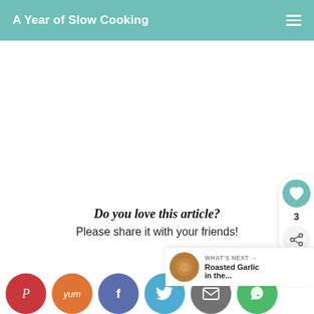A Year of Slow Cooking
[Figure (screenshot): Partially visible rounded rectangle image/button at top]
Do you love this article?
Please share it with your friends!
[Figure (infographic): Social sharing buttons row: Pinterest, Yum, Facebook, Twitter, Email, WhatsApp]
[Figure (infographic): Like/share widget on right side showing heart icon, count 3, and share icon]
[Figure (infographic): What's Next banner with thumbnail and text: Roasted Garlic in the...]